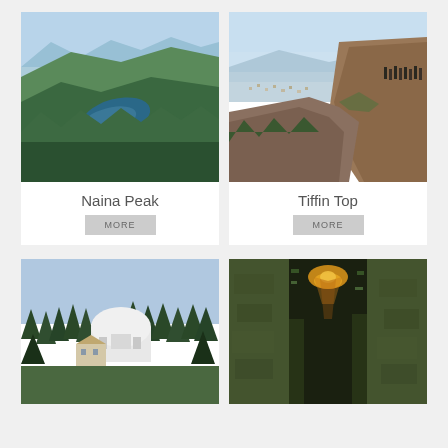[Figure (photo): Aerial view of Naina Peak showing a crescent-shaped lake surrounded by forested mountains and a hillside town]
Naina Peak
MORE
[Figure (photo): View from Tiffin Top showing steep rocky cliffs, a hillside town below, and tourists standing on the rocky outcrop]
Tiffin Top
MORE
[Figure (photo): A white domed temple or observatory building surrounded by pine trees on a hilltop with a blue sky]
[Figure (photo): A narrow cave or rock crevice with moss-covered walls and dim light visible at the top]